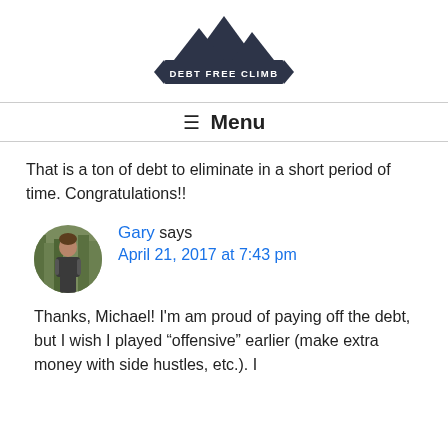[Figure (logo): Debt Free Climb logo: mountain silhouette with banner reading DEBT FREE CLIMB]
≡ Menu
That is a ton of debt to eliminate in a short period of time. Congratulations!!
[Figure (photo): Circular avatar photo of Gary, a young man outdoors in a forested area]
Gary says
April 21, 2017 at 7:43 pm
Thanks, Michael! I'm am proud of paying off the debt, but I wish I played “offensive” earlier (make extra money with side hustles, etc.). I